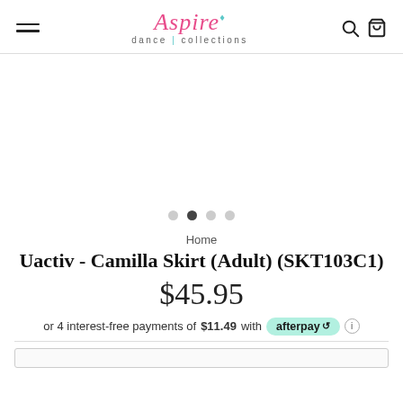Aspire dance collections
[Figure (other): Product image carousel with 4 navigation dots, second dot active]
Home
Uactiv - Camilla Skirt (Adult) (SKT103C1)
$45.95
or 4 interest-free payments of $11.49 with afterpay